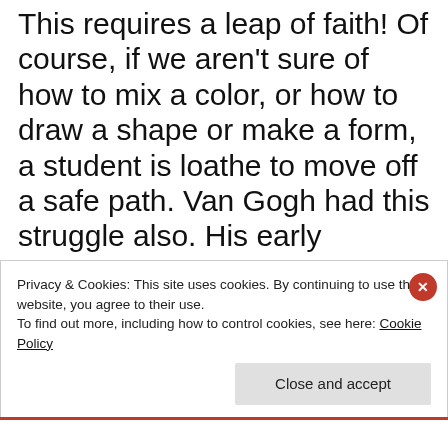This requires a leap of faith! Of course, if we aren't sure of how to mix a color, or how to draw a shape or make a form, a student is loathe to move off a safe path. Van Gogh had this struggle also. His early paintings were dark and lacking the energy of his late works.
Privacy & Cookies: This site uses cookies. By continuing to use this website, you agree to their use. To find out more, including how to control cookies, see here: Cookie Policy
Close and accept